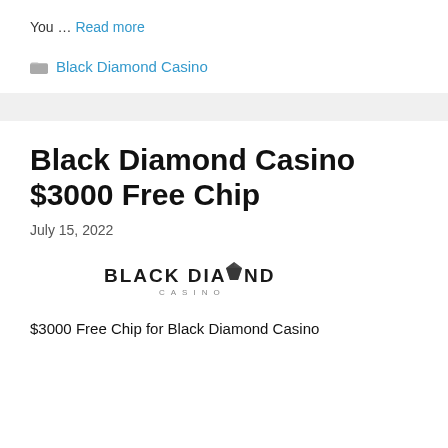You … Read more
Black Diamond Casino
Black Diamond Casino $3000 Free Chip
July 15, 2022
[Figure (logo): Black Diamond Casino logo with diamond icon in the middle of the text]
$3000 Free Chip for Black Diamond Casino